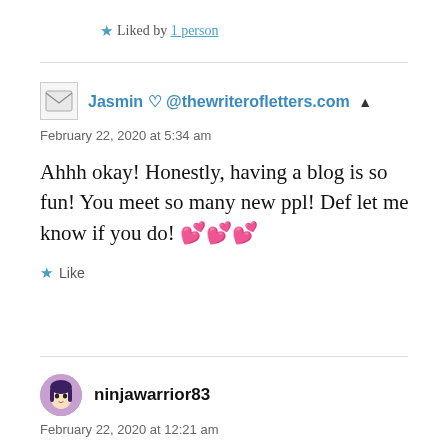★ Liked by 1 person
Jasmin ♡ @thewriterofletters.com
February 22, 2020 at 5:34 am
Ahhh okay! Honestly, having a blog is so fun! You meet so many new ppl! Def let me know if you do! 💕💕💕
★ Like
ninjawarrior83
February 22, 2020 at 12:21 am